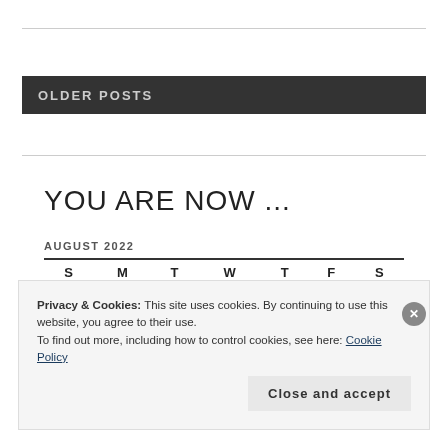OLDER POSTS
YOU ARE NOW ...
AUGUST 2022
| S | M | T | W | T | F | S |
| --- | --- | --- | --- | --- | --- | --- |
|  | 1 | 2 | 3 | 4 | 5 | 6 |
Privacy & Cookies: This site uses cookies. By continuing to use this website, you agree to their use.
To find out more, including how to control cookies, see here: Cookie Policy
Close and accept